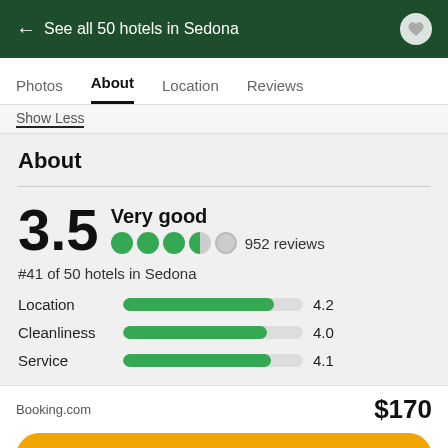← See all 50 hotels in Sedona
Photos  About  Location  Reviews
Show Less
About
3.5  Very good  952 reviews  #41 of 50 hotels in Sedona
[Figure (infographic): Star/circle rating display: 3.5 out of 5, shown as 3 full green circles, 1 half green circle, 1 empty circle]
Location 4.2
Cleanliness 4.0
Service 4.1
Booking.com  $170
View deal